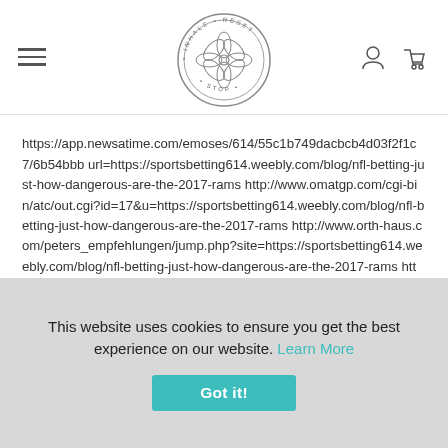[Figure (logo): Stop Inhale Reset circular logo with floral/mandala design in the center]
https://app.newsatime.com/emoses/614/55c1b749dacbcb4d03f2f1c7/6b54bbb url=https://sportsbetting614.weebly.com/blog/nfl-betting-just-how-dangerous-are-the-2017-rams http://www.omatgp.com/cgi-bin/atc/out.cgi?id=17&u=https://sportsbetting614.weebly.com/blog/nfl-betting-just-how-dangerous-are-the-2017-rams http://www.orth-haus.com/peters_empfehlungen/jump.php?site=https://sportsbetting614.weebly.com/blog/nfl-betting-just-how-dangerous-are-the-2017-rams http://www.sermemole.com/public/serbook/redirect.php?url=https://sportsbetting614.weebly.com/blog/nfl-betting-just-how-dangerous-are-the-2017-
This website uses cookies to ensure you get the best experience on our website. Learn More
Got it!